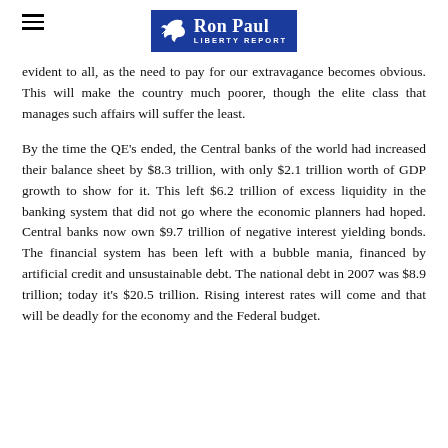Ron Paul Liberty Report
evident to all, as the need to pay for our extravagance becomes obvious. This will make the country much poorer, though the elite class that manages such affairs will suffer the least.
By the time the QE's ended, the Central banks of the world had increased their balance sheet by $8.3 trillion, with only $2.1 trillion worth of GDP growth to show for it. This left $6.2 trillion of excess liquidity in the banking system that did not go where the economic planners had hoped. Central banks now own $9.7 trillion of negative interest yielding bonds. The financial system has been left with a bubble mania, financed by artificial credit and unsustainable debt. The national debt in 2007 was $8.9 trillion; today it's $20.5 trillion. Rising interest rates will come and that will be deadly for the economy and the Federal budget.